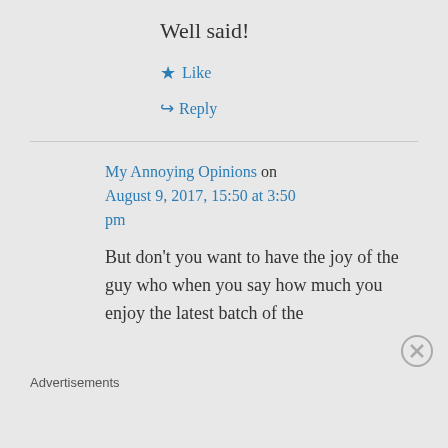Well said!
★ Like
↵ Reply
My Annoying Opinions on August 9, 2017, 15:50 at 3:50 pm
But don't you want to have the joy of the guy who when you say how much you enjoy the latest batch of the
Advertisements